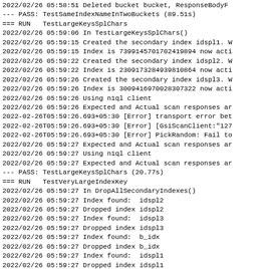2022/02/26 05:58:51 Deleted bucket bucket, ResponseBody
--- PASS: TestSameIndexNameInTwoBuckets (89.51s)
=== RUN   TestLargeKeysSplChars
2022/02/26 05:59:06 In TestLargeKeysSplChars()
2022/02/26 05:59:15 Created the secondary index idspl1. W
2022/02/26 05:59:15 Index is 7399145701702419894 now acti
2022/02/26 05:59:22 Created the secondary index idspl2. W
2022/02/26 05:59:22 Index is 2309173284939810864 now acti
2022/02/26 05:59:26 Created the secondary index idspl3. W
2022/02/26 05:59:26 Index is 3009416970028307322 now acti
2022/02/26 05:59:26 Using n1ql client
2022/02/26 05:59:26 Expected and Actual scan responses ar
2022-02-26T05:59:26.693+05:30 [Error] transport error bet
2022-02-26T05:59:26.693+05:30 [Error] [GsiScanClient:"127
2022-02-26T05:59:26.693+05:30 [Error] PickRandom: Fail to
2022/02/26 05:59:27 Expected and Actual scan responses ar
2022/02/26 05:59:27 Using n1ql client
2022/02/26 05:59:27 Expected and Actual scan responses ar
--- PASS: TestLargeKeysSplChars (20.77s)
=== RUN   TestVeryLargeIndexKey
2022/02/26 05:59:27 In DropAllSecondaryIndexes()
2022/02/26 05:59:27 Index found:  idspl2
2022/02/26 05:59:27 Dropped index idspl2
2022/02/26 05:59:27 Index found:  idspl3
2022/02/26 05:59:27 Dropped index idspl3
2022/02/26 05:59:27 Index found:  b_idx
2022/02/26 05:59:27 Dropped index b_idx
2022/02/26 05:59:27 Index found:  idspl1
2022/02/26 05:59:27 Dropped index idspl1
2022/02/26 06:00:04 Flushed the bucket default, Response
2022/02/26 06:00:04 TestVeryLargeIndexKey: Flushed the b